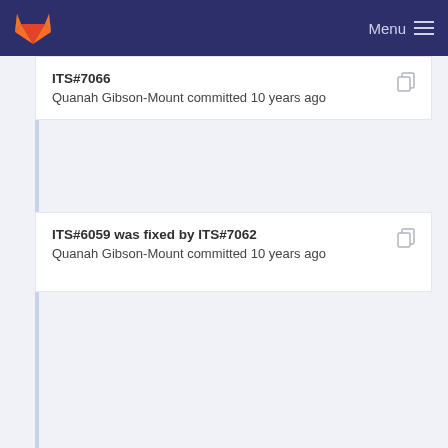Menu
ITS#7066
Quanah Gibson-Mount committed 10 years ago
ITS#6059 was fixed by ITS#7062
Quanah Gibson-Mount committed 10 years ago